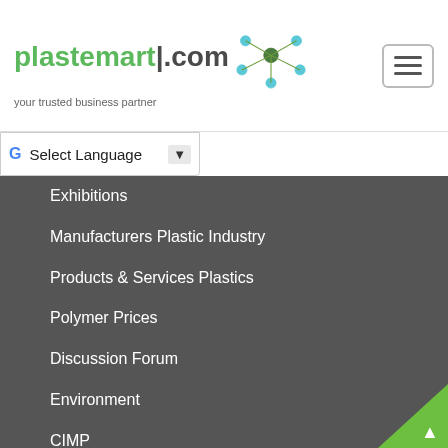[Figure (logo): plastemart.com logo with network node graphic and tagline 'your trusted business partner']
[Figure (infographic): Hamburger/toggle menu icon button (three horizontal lines in a rounded rectangle border)]
Select Language
Exhibitions
Manufacturers Plastic Industry
Products & Services Plastics
Polymer Prices
Discussion Forum
Environment
CIMP
SEARCH BY CATEGORY
Additives & Masterbatches for Plastics
Auxiliary Plastic Equipment
Buyers and Traders
Consultants and Services